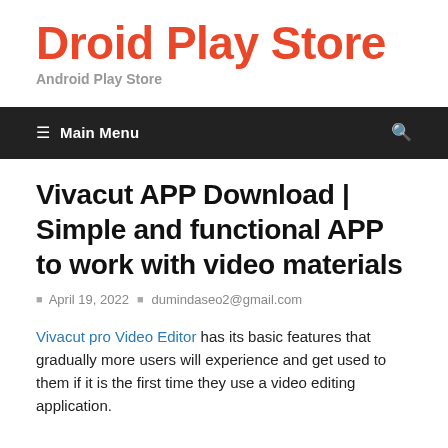Droid Play Store
Android Play Store
☰  Main Menu
Vivacut APP Download | Simple and functional APP to work with video materials
April 19, 2022  dumindaseo2@gmail.com
Vivacut pro Video Editor has its basic features that gradually more users will experience and get used to them if it is the first time they use a video editing application.